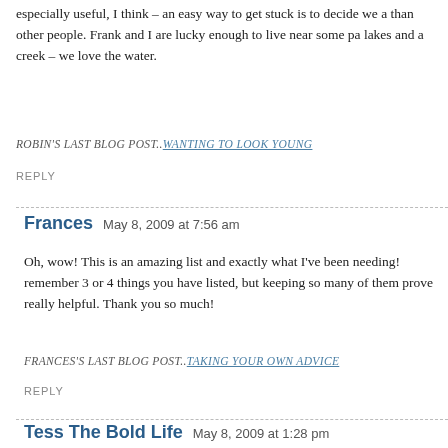especially useful, I think – an easy way to get stuck is to decide we a than other people. Frank and I are lucky enough to live near some pa lakes and a creek – we love the water.
ROBIN'S LAST BLOG POST.. WANTING TO LOOK YOUNG
REPLY
Frances   May 8, 2009 at 7:56 am
Oh, wow! This is an amazing list and exactly what I've been needing! remember 3 or 4 things you have listed, but keeping so many of them prove really helpful. Thank you so much!
FRANCES'S LAST BLOG POST.. TAKING YOUR OWN ADVICE
REPLY
Tess The Bold Life   May 8, 2009 at 1:28 pm